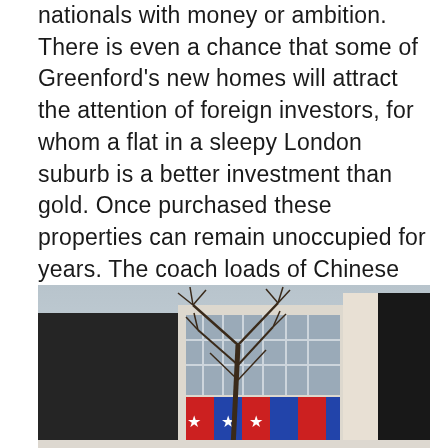nationals with money or ambition. There is even a chance that some of Greenford's new homes will attract the attention of foreign investors, for whom a flat in a sleepy London suburb is a better investment than gold. Once purchased these properties can remain unoccupied for years. The coach loads of Chinese businessmen who descend upon the Eight Treasures Restaurant in Ealing Broadway may be a sign that our borough is attracting that kind of attention. I doubt if they come all that way just for the food.
[Figure (photo): Photograph of a street scene showing a bare winter tree in the foreground, with a commercial building complex behind it featuring dark facades, large windows, and colourful banners or signage at street level.]